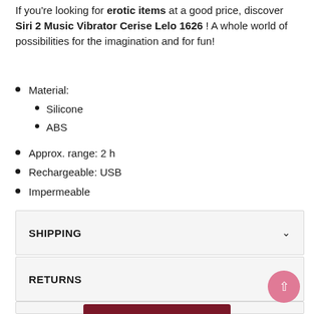If you're looking for erotic items at a good price, discover Siri 2 Music Vibrator Cerise Lelo 1626 ! A whole world of possibilities for the imagination and for fun!
Material:
Silicone
ABS
Approx. range: 2 h
Rechargeable: USB
Impermeable
SHIPPING
RETURNS
REVIEWS